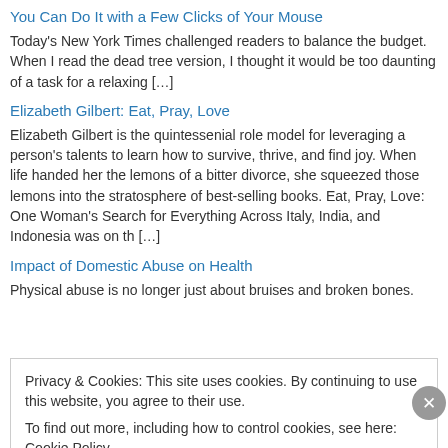You Can Do It with a Few Clicks of Your Mouse
Today’s New York Times challenged readers to balance the budget. When I read the dead tree version, I thought it would be too daunting of a task for a relaxing […]
Elizabeth Gilbert: Eat, Pray, Love
Elizabeth Gilbert is the quintessenial role model for leveraging a person's talents to learn how to survive, thrive, and find joy. When life handed her the lemons of a bitter divorce, she squeezed those lemons into the stratosphere of best-selling books. Eat, Pray, Love: One Woman's Search for Everything Across Italy, India, and Indonesia was on th […]
Impact of Domestic Abuse on Health
Physical abuse is no longer just about bruises and broken bones.
Privacy & Cookies: This site uses cookies. By continuing to use this website, you agree to their use.
To find out more, including how to control cookies, see here: Cookie Policy
Close and accept